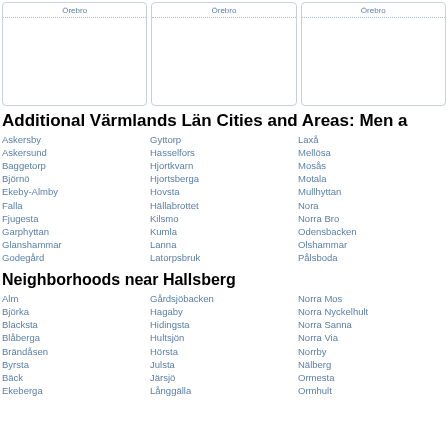| Örebro | Örebro | Örebro |
| --- | --- | --- |
Additional Värmlands Län Cities and Areas: Men a
Askersby
Askersund
Baggetorp
Björnö
Ekeby-Almby
Falla
Fjugesta
Garphyttan
Glanshammar
Godegård
Gyttorp
Hasselfors
Hjortkvarn
Hjortsberga
Hovsta
Hällabrottet
Kilsmo
Kumla
Lanna
Latorpsbruk
Laxå
Mellösa
Mosås
Motala
Mullhyttan
Nora
Norra Bro
Odensbacken
Olshammar
Pålsboda
Neighborhoods near Hallsberg
Alm
Björka
Blacksta
Blåberga
Brändåsen
Byrsta
Bäck
Ekeberga
Gårdsjöbacken
Hagaby
Hidingsta
Hultsjön
Hörsta
Julsta
Järsjö
Långgälla
Norra Mos
Norra Nyckelhult
Norra Sanna
Norra Via
Norrby
Nälberg
Ormesta
Ormhult